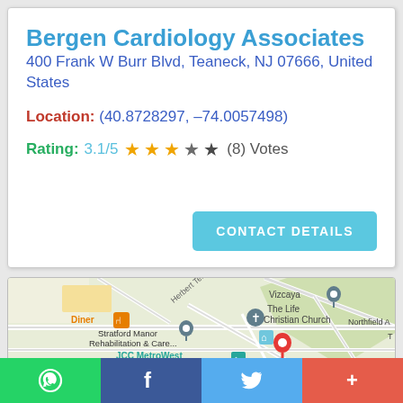Bergen Cardiology Associates
400 Frank W Burr Blvd, Teaneck, NJ 07666, United States
Location: (40.8728297, –74.0057498)
Rating: 3.1/5 ★★★☆★ (8) Votes
[Figure (map): Google Maps view showing the area around Bergen Cardiology Associates in Teaneck, NJ, with landmarks including Vizcaya, The Life Christian Church, Stratford Manor Rehabilitation & Care, JCC MetroWest, and a Diner.]
WhatsApp | Facebook | Twitter | More (+)